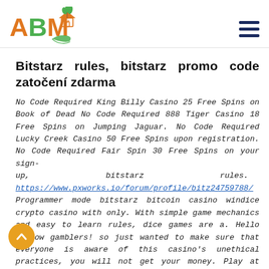ABM logo and navigation menu
Bitstarz rules, bitstarz promo code zatočení zdarma
No Code Required King Billy Casino 25 Free Spins on Book of Dead No Code Required 888 Tiger Casino 18 Free Spins on Jumping Jaguar. No Code Required Lucky Creek Casino 50 Free Spins upon registration. No Code Required Fair Spin 30 Free Spins on your sign-up, bitstarz rules. https://www.pxworks.io/forum/profile/bitz24759788/ Programmer mode bitstarz bitcoin casino windice crypto casino with only. With simple game mechanics and easy to learn rules, dice games are a. Hello fellow gamblers! so just wanted to make sure that everyone is aware of this casino's unethical practices, you will not get your money. Play at bitstarz casino, where aussies enjoy loads of quality games, bonuses, and entertainment. Use bitcoins to fund your fun at one of